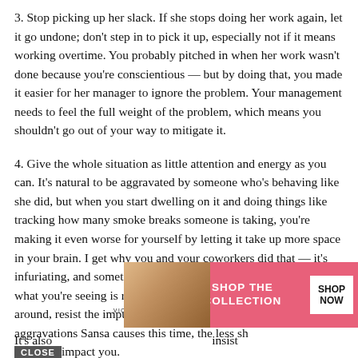3. Stop picking up her slack. If she stops doing her work again, let it go undone; don't step in to pick it up, especially not if it means working overtime. You probably pitched in when her work wasn't done because you're conscientious — but by doing that, you made it easier for her manager to ignore the problem. Your management needs to feel the full weight of the problem, which means you shouldn't go out of your way to mitigate it.
4. Give the whole situation as little attention and energy as you can. It's natural to be aggravated by someone who's behaving like she did, but when you start dwelling on it and doing things like tracking how many smoke breaks someone is taking, you're making it even worse for yourself by letting it take up more space in your brain. I get why you and your coworkers did that — it's infuriating, and sometimes you're looking for confirmation that what you're seeing is really as bad as you think — but this time around, resist the impulse. The less you dwell on any aggravations Sansa causes this time, the less she'll impact you.
[Figure (other): Victoria's Secret advertisement banner with CLOSE button overlay. Pink background banner showing 'SHOP THE COLLECTION' text and 'SHOP NOW' button, with Victoria's Secret logo. A photo of a woman partially visible on the left.]
It's also                                                                                            insist